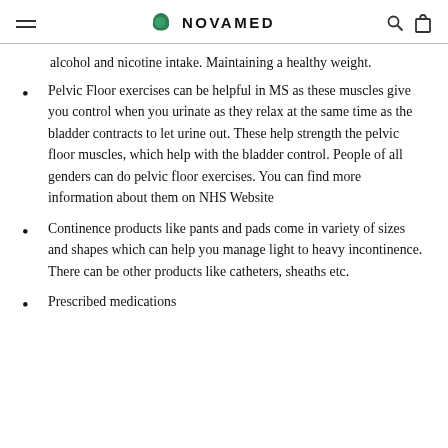NOVAMED
alcohol and nicotine intake. Maintaining a healthy weight.
Pelvic Floor exercises can be helpful in MS as these muscles give you control when you urinate as they relax at the same time as the bladder contracts to let urine out. These help strength the pelvic floor muscles, which help with the bladder control. People of all genders can do pelvic floor exercises. You can find more information about them on NHS Website
Continence products like pants and pads come in variety of sizes and shapes which can help you manage light to heavy incontinence. There can be other products like catheters, sheaths etc.
Prescribed medications